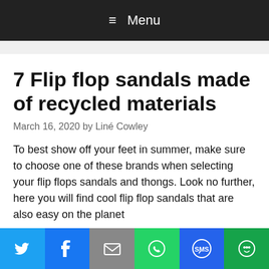≡ Menu
7 Flip flop sandals made of recycled materials
March 16, 2020 by Liné Cowley
To best show off your feet in summer, make sure to choose one of these brands when selecting your flip flops sandals and thongs. Look no further, here you will find cool flip flop sandals that are also easy on the planet
[Figure (infographic): Social sharing bar with icons for Twitter, Facebook, Email, WhatsApp, SMS, and More]